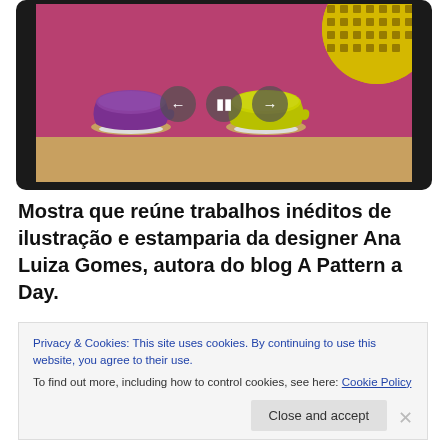[Figure (screenshot): Screenshot of a tablet or monitor displaying a slideshow with two cups (purple and yellow) on a pink/wine background, with a yellow patterned circular element and playback controls (back, pause, forward).]
Mostra que reúne trabalhos inéditos de ilustração e estamparia da designer Ana Luiza Gomes, autora do blog A Pattern a Day.
Privacy & Cookies: This site uses cookies. By continuing to use this website, you agree to their use.
To find out more, including how to control cookies, see here: Cookie Policy